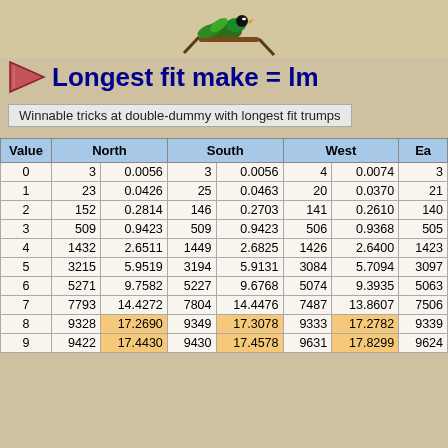[Figure (illustration): Bird perched on branch with green leaves, decorative header image]
Longest fit make = lm
Winnable tricks at double-dummy with longest fit trumps
| Value | North |  | South |  | West |  | Ea |
| --- | --- | --- | --- | --- | --- | --- | --- |
| 0 | 3 | 0.0056 | 3 | 0.0056 | 4 | 0.0074 | 3 |
| 1 | 23 | 0.0426 | 25 | 0.0463 | 20 | 0.0370 | 21 |
| 2 | 152 | 0.2814 | 146 | 0.2703 | 141 | 0.2610 | 140 |
| 3 | 509 | 0.9423 | 509 | 0.9423 | 506 | 0.9368 | 505 |
| 4 | 1432 | 2.6511 | 1449 | 2.6825 | 1426 | 2.6400 | 1423 |
| 5 | 3215 | 5.9519 | 3194 | 5.9131 | 3084 | 5.7094 | 3097 |
| 6 | 5271 | 9.7582 | 5227 | 9.6768 | 5074 | 9.3935 | 5063 |
| 7 | 7793 | 14.4272 | 7804 | 14.4476 | 7487 | 13.8607 | 7506 |
| 8 | 9328 | 17.2690 | 9349 | 17.3078 | 9333 | 17.2782 | 9339 |
| 9 | 9422 | 17.4430 | 9430 | 17.4578 | 9631 | 17.8299 | 9624 |